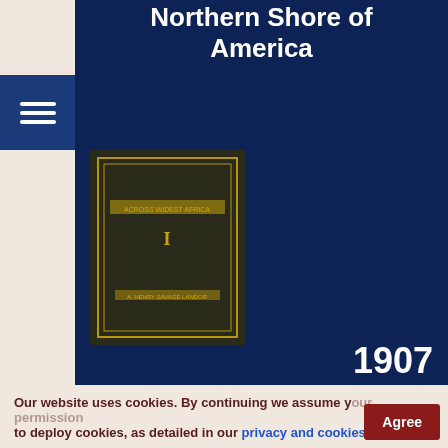Northern Shore of America
[Figure (photo): Dark book cover with gold border and text 'Across Widest Africa Vol. 1']
1907
Across Widest Africa Vol. 1
[Figure (photo): Dark book cover with gold border and text 'Across Widest Africa']
[Figure (illustration): Animated hourglass with yellow sand and orange/gold colored top and bottom chambers]
1907
Our website uses cookies. By continuing we assume your permission to deploy cookies, as detailed in our privacy and cookies policy.